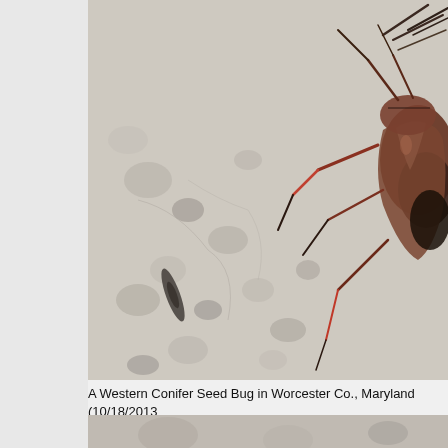[Figure (photo): Close-up photograph of a Western Conifer Seed Bug resting on a concrete or stone surface. The bug is brownish-red with long antennae and visible leg markings. The background is a pale beige/grey textured stone surface with embedded pebbles.]
A Western Conifer Seed Bug in Worcester Co., Maryland (10/18/2013
[Figure (photo): Partial photograph visible at the bottom of the page, showing a similar stone/concrete surface, likely another image of the same or similar insect.]